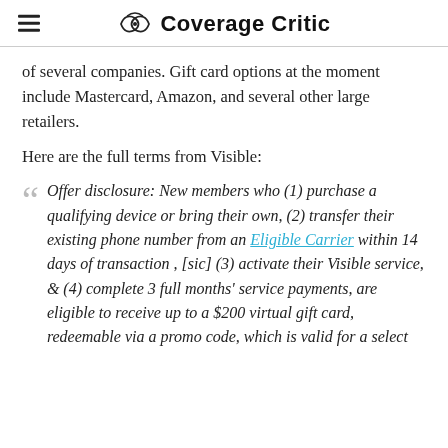Coverage Critic
of several companies. Gift card options at the moment include Mastercard, Amazon, and several other large retailers.
Here are the full terms from Visible:
Offer disclosure: New members who (1) purchase a qualifying device or bring their own, (2) transfer their existing phone number from an Eligible Carrier within 14 days of transaction , [sic] (3) activate their Visible service, & (4) complete 3 full months' service payments, are eligible to receive up to a $200 virtual gift card, redeemable via a promo code, which is valid for a select